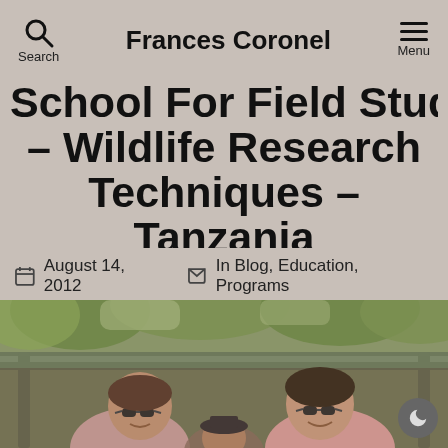Frances Coronel
School For Field Studies – Wildlife Research Techniques – Tanzania
August 14, 2012  In Blog, Education, Programs
[Figure (photo): Two people wearing sunglasses sitting in an open safari vehicle, with trees visible in the background. Photo appears to be taken in Tanzania.]